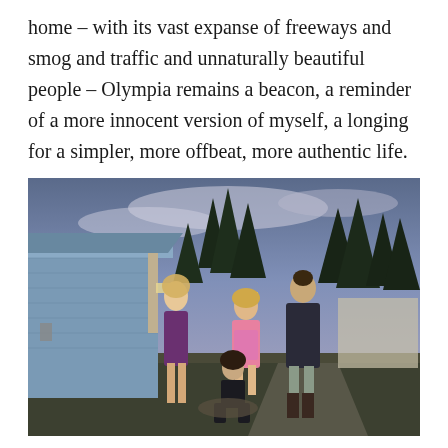home – with its vast expanse of freeways and smog and traffic and unnaturally beautiful people – Olympia remains a beacon, a reminder of a more innocent version of myself, a longing for a simpler, more offbeat, more authentic life.
[Figure (photo): Outdoor evening photo of four young people standing in front of a blue house with tall evergreen trees in the background under a dusky purple-blue sky. Three are standing and one is crouching in the center foreground.]